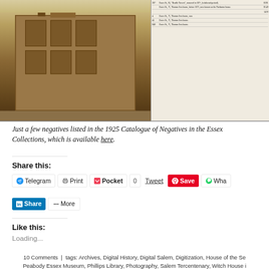[Figure (photo): Two-panel image: left panel shows an old sepia photograph of a historic multi-story building; right panel shows a page from the 1925 Catalogue of Negatives listing Essex Street properties including entries for Thomas Ives house, Narbonne house, and Beadle Tavern.]
Just a few negatives listed in the 1925 Catalogue of Negatives in the Essex Collections, which is available here.
Share this:
Telegram
Print
Pocket 0
Tweet
Save
WhatsApp
LinkedIn Share
More
Like this:
Loading...
10 Comments  |  tags: Archives, Digital History, Digital Salem, Digitization, House of the Se... Peabody Essex Museum, Phillips Library, Photography, Salem Tercentenary, Witch House Architecture, History, Houses, Salem